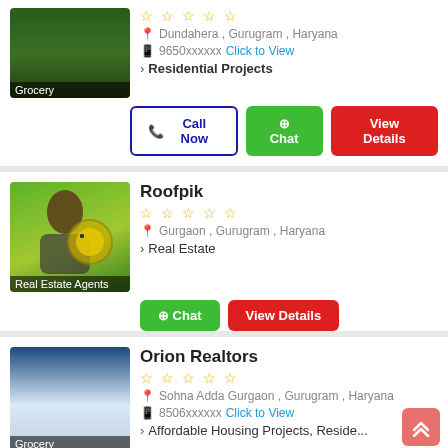[Figure (screenshot): Thumbnail image of a residential building project labeled Grocery]
Dundahera , Gurugram , Haryana
9650xxxxxx  Click to View
Residential Projects
Call Now  Chat  View Details
Roofpik
[Figure (photo): Thumbnail image of a real estate agent with house keys labeled Real Estate Agents]
Gurgaon , Gurugram , Haryana
Real Estate
Chat  View Details
Orion Realtors
[Figure (photo): Thumbnail image of a property with blue background labeled Grocery]
Sohna Adda Gurgaon , Gurugram , Haryana
8506xxxxxx  Click to View
Affordable Housing Projects, Reside...